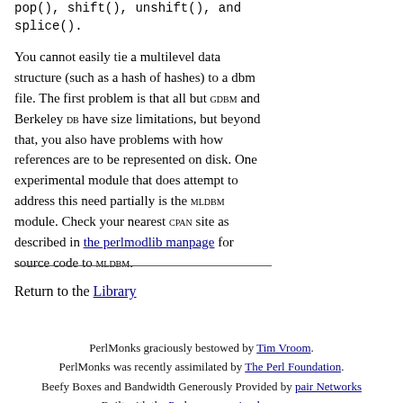pop(), shift(), unshift(), and splice().
You cannot easily tie a multilevel data structure (such as a hash of hashes) to a dbm file. The first problem is that all but GDBM and Berkeley DB have size limitations, but beyond that, you also have problems with how references are to be represented on disk. One experimental module that does attempt to address this need partially is the MLDBM module. Check your nearest CPAN site as described in the perlmodlib manpage for source code to MLDBM.
Return to the Library
PerlMonks graciously bestowed by Tim Vroom.
PerlMonks was recently assimilated by The Perl Foundation.
Beefy Boxes and Bandwidth Generously Provided by pair Networks
Built with the Perl programming language.